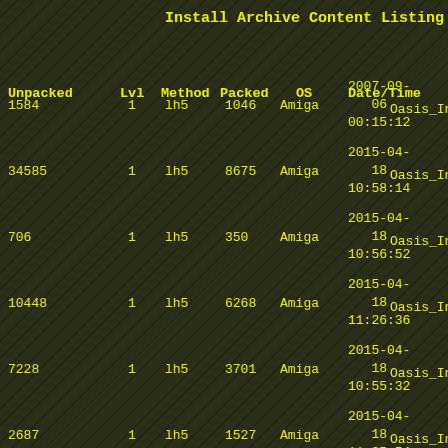Install Archive Content Listing
| Unpacked | Lvl | Method | Packed | OS | Date/Time |  |
| --- | --- | --- | --- | --- | --- | --- |
| 1584 | 1 | lh5 | 1046 | Amiga | 2007-09-06 00:15:12 | Oasis_In |
| 34585 | 1 | lh5 | 8675 | Amiga | 2015-04-18 10:58:14 | Oasis_In |
| 706 | 1 | lh5 | 350 | Amiga | 2015-04-18 10:56:52 | Oasis_In |
| 10448 | 1 | lh5 | 6268 | Amiga | 2015-04-18 11:26:36 | Oasis_In |
| 7228 | 1 | lh5 | 3701 | Amiga | 2015-04-18 10:55:32 | Oasis_In |
| 2687 | 1 | lh5 | 1527 | Amiga | 2015-04-18 11:35:54 | Oasis_In |